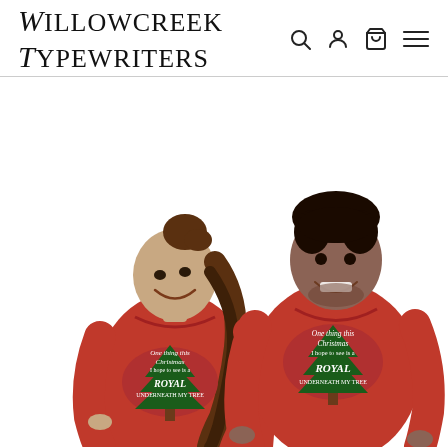Willowcreek Typewriters
[Figure (photo): Two people wearing red Christmas-themed t-shirts that read 'One thing this Christmas I hope to see is a ROYAL underneath my tree' with a Christmas tree graphic. A woman on the left with long wavy brown hair and a man on the right with short hair, both smiling and wearing matching red shirts. White background.]